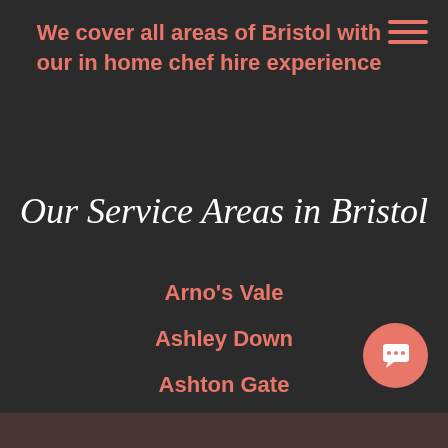We cover all areas of Bristol with our in home chef hire experience
Our Service Areas in Bristol
Arno's Vale
Ashley Down
Ashton Gate
Avonmouth
Read more...